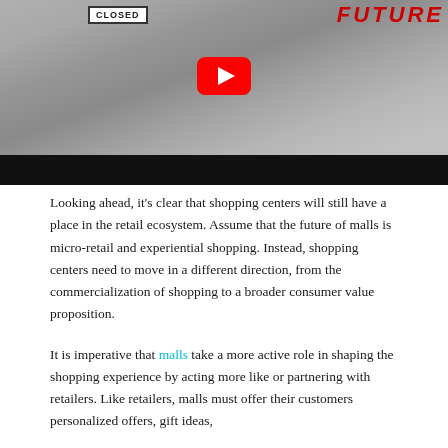[Figure (screenshot): YouTube video thumbnail showing a black-and-white image of an empty mall parking lot with a 'CLOSED' sign on the left and 'FUTURE' text in red on the top right. A YouTube play button is centered over the image. Below the image is a black bar.]
Looking ahead, it's clear that shopping centers will still have a place in the retail ecosystem. Assume that the future of malls is micro-retail and experiential shopping. Instead, shopping centers need to move in a different direction, from the commercialization of shopping to a broader consumer value proposition.
It is imperative that malls take a more active role in shaping the shopping experience by acting more like or partnering with retailers. Like retailers, malls must offer their customers personalized offers, gift ideas,